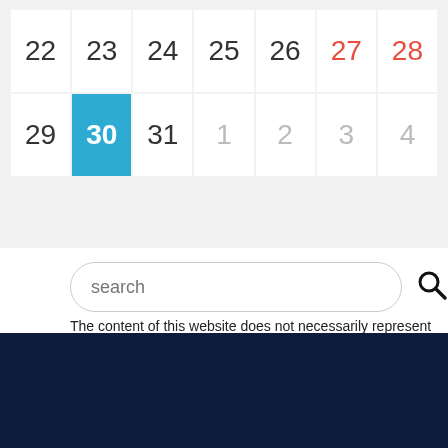| 22 | 23 | 24 | 25 | 26 | 27 | 28 |
| 29 | 30 | 31 | 1 | 2 | 3 | 4 |
[Figure (screenshot): Search bar with placeholder text 'search' and a magnifying glass icon]
The content of this website does not necessarily represent the official
This website uses cookies to ensure you get the best experience on our website. Cookie policy Privacy Policy
Decline
Allow all cookies
Cookie settings: Necessary | Preferences | Statistics | Marketing | Allow cookies